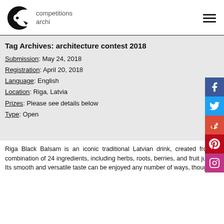[Figure (logo): Competitions Archi logo with stylized C/Q letterform in black and text 'competitions archi' in grey]
Tag Archives: architecture contest 2018
Submission: May 24, 2018
Registration: April 20, 2018
Language: English
Location: Riga, Latvia
Prizes: Please see details below
Type: Open
Riga Black Balsam is an iconic traditional Latvian drink, created from a combination of 24 ingredients, including herbs, roots, berries, and fruit juices. Its smooth and versatile taste can be enjoyed any number of ways, though it